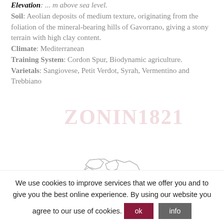Elevation: ... m above sea level.
Soil: Aeolian deposits of medium texture, originating from the foliation of the mineral-bearing hills of Gavorrano, giving a stony terrain with high clay content.
Climate: Mediterranean
Training System: Cordon Spur, Biodynamic agriculture.
Varietals: Sangiovese, Petit Verdot, Syrah, Vermentino and Trebbiano
[Figure (map): Outline map showing regional geography, likely Tuscany or a sub-region of Italy, with white regions and light grey borders.]
We use cookies to improve services that we offer you and to give you the best online experience. By using our website you agree to our use of cookies.